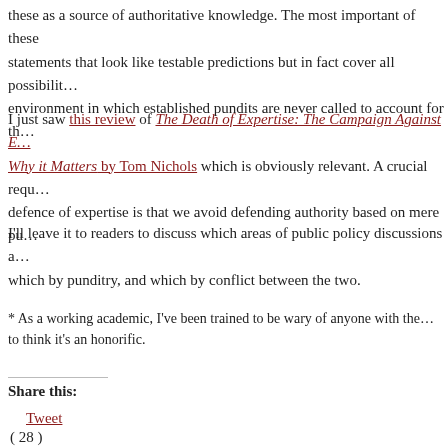these as a source of authoritative knowledge. The most important of these statements that look like testable predictions but in fact cover all possibilities environment in which established pundits are never called to account for th
I just saw this review of The Death of Expertise: The Campaign Against E... Why it Matters by Tom Nichols which is obviously relevant. A crucial requ defence of expertise is that we avoid defending authority based on mere pu
I'll leave it to readers to discuss which areas of public policy discussions a which by punditry, and which by conflict between the two.
* As a working academic, I've been trained to be wary of anyone with the to think it's an honorific.
Share this:
Tweet